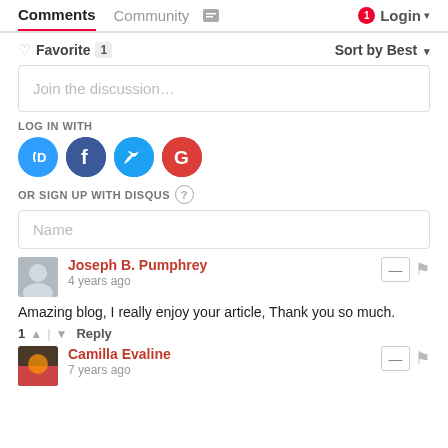Comments   Community   Login
♡ Favorite 1   Sort by Best
Join the discussion…
LOG IN WITH
[Figure (illustration): Social login icons: Disqus (D, blue), Facebook (f, dark blue), Twitter (bird, light blue), Google (G, red)]
OR SIGN UP WITH DISQUS ?
Name
Joseph B. Pumphrey
4 years ago
Amazing blog, I really enjoy your article, Thank you so much.
1 ↑ | ↓ Reply
Camilla Evaline
7 years ago